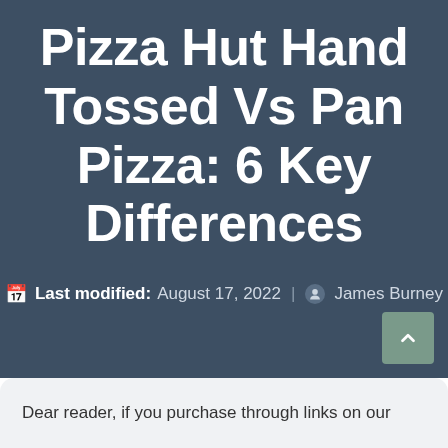Pizza Hut Hand Tossed Vs Pan Pizza: 6 Key Differences
Last modified: August 17, 2022 | James Burney
Dear reader, if you purchase through links on our